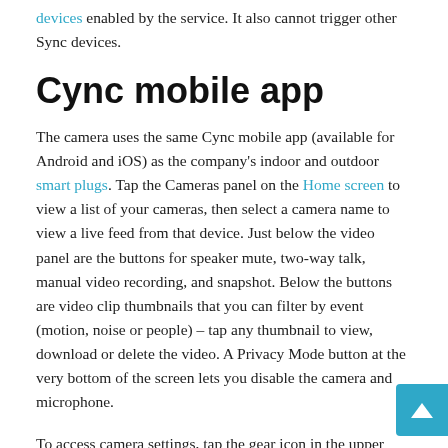devices enabled by the service. It also cannot trigger other Sync devices.
Cync mobile app
The camera uses the same Cync mobile app (available for Android and iOS) as the company's indoor and outdoor smart plugs. Tap the Cameras panel on the Home screen to view a list of your cameras, then select a camera name to view a live feed from that device. Just below the video panel are the buttons for speaker mute, two-way talk, manual video recording, and snapshot. Below the buttons are video clip thumbnails that you can filter by event (motion, noise or people) – tap any thumbnail to view, download or delete the video. A Privacy Mode button at the very bottom of the screen lets you disable the camera and microphone.
To access camera settings, tap the gear icon in the upper right corner and choose Edit indoor camera. Here you can change Wi-Fi settings, change your camera name, and assign it to a hub.